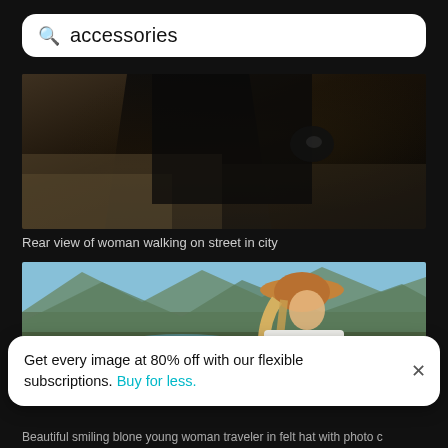accessories
[Figure (photo): Rear view of a person dressed in black walking on a street in a city, dark tones]
Rear view of woman walking on street in city
[Figure (photo): Smiling blonde young woman traveler in felt hat with photo camera sitting outdoors with mountain and river landscape behind her]
Get every image at 80% off with our flexible subscriptions. Buy for less.
Beautiful smiling blone young woman traveler in felt hat with photo c